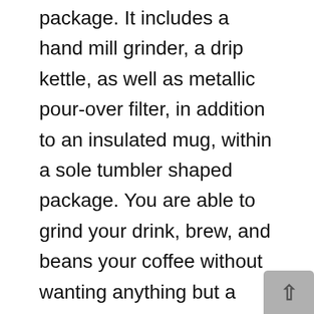package. It includes a hand mill grinder, a drip kettle, as well as metallic pour-over filter, in addition to an insulated mug, within a sole tumbler shaped package. You are able to grind your drink, brew, and beans your coffee without wanting anything but a means to boil water.
The resulting brew is several of the very best pour-over coffee I have created. Getting the right grind is actually crucial, but the changeable grinder enables you to experiment right up until you discover something you enjoy. If also the small look of the Klassic is way too